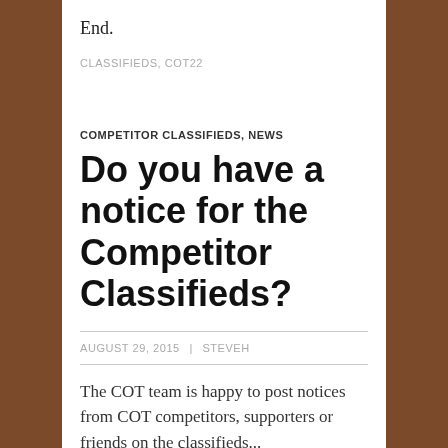End.
CLASSIFIEDS, COT22
COMPETITOR CLASSIFIEDS, NEWS
Do you have a notice for the Competitor Classifieds?
AUGUST 29, 2015 | STEVEH
The COT team is happy to post notices from COT competitors, supporters or friends on the classifieds...